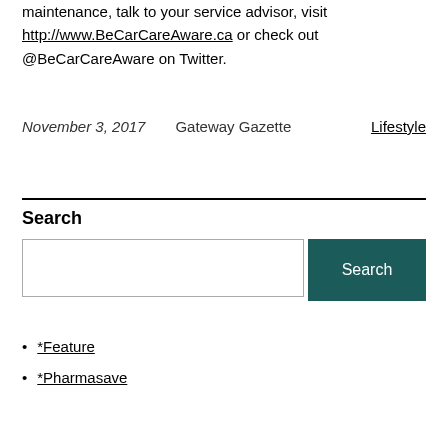maintenance, talk to your service advisor, visit http://www.BeCarCareAware.ca or check out @BeCarCareAware on Twitter.
November 3, 2017    Gateway Gazette    Lifestyle
Search
*Feature
*Pharmasave